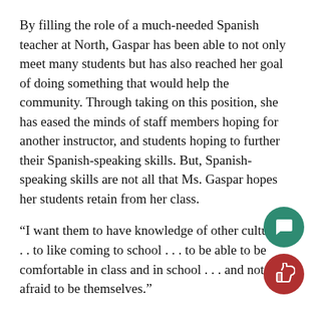By filling the role of a much-needed Spanish teacher at North, Gaspar has been able to not only meet many students but has also reached her goal of doing something that would help the community. Through taking on this position, she has eased the minds of staff members hoping for another instructor, and students hoping to further their Spanish-speaking skills. But, Spanish-speaking skills are not all that Ms. Gaspar hopes her students retain from her class.
“I want them to have knowledge of other cultures . . . to like coming to school . . . to be able to be comfortable in class and in school . . . and not afraid to be themselves.”
Gaspar not only cares for her student’s ability to retain knowledge, but also for their well-being.
Ultimately thrust into her first year of teaching, it is that Ms. Gaspar has learned many things as well about
[Figure (illustration): Teal circular button with a speech/comment bubble icon]
[Figure (illustration): Dark red circular button with a thumbs-up icon]